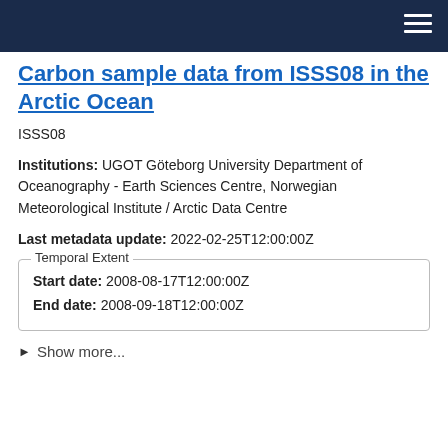Carbon sample data from ISSS08 in the Arctic Ocean
ISSS08
Institutions: UGOT Göteborg University Department of Oceanography - Earth Sciences Centre, Norwegian Meteorological Institute / Arctic Data Centre
Last metadata update: 2022-02-25T12:00:00Z
Temporal Extent
Start date: 2008-08-17T12:00:00Z
End date: 2008-09-18T12:00:00Z
▶ Show more...